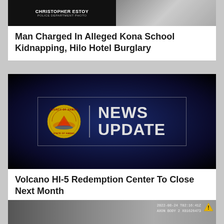[Figure (photo): Police department booking photo of Christopher Estoy, split image with dark left side showing name text and right side showing the subject]
Man Charged In Alleged Kona School Kidnapping, Hilo Hotel Burglary
[Figure (logo): County of Hawaii News Update graphic with official seal on dark blue background]
Volcano HI-5 Redemption Center To Close Next Month
[Figure (screenshot): Body camera footage timestamp screenshot showing 2022-08-24 T02:16:41Z AXON BODY 2 X81626473 with warning triangle]